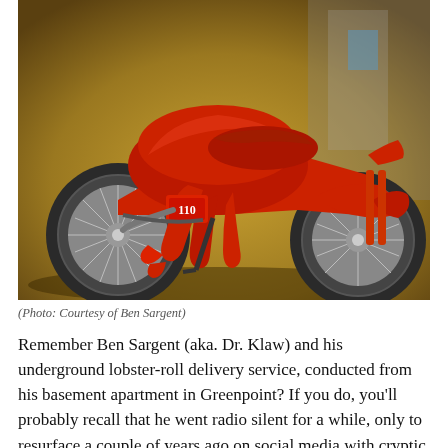[Figure (photo): A red motorcycle decorated with lobster-themed accessories including claws and shells, displayed indoors on a concrete floor.]
(Photo: Courtesy of Ben Sargent)
Remember Ben Sargent (aka. Dr. Klaw) and his underground lobster-roll delivery service, conducted from his basement apartment in Greenpoint? If you do, you'll probably recall that he went radio silent for a while, only to resurface a couple of years ago on social media with cryptic messages about a "crazy